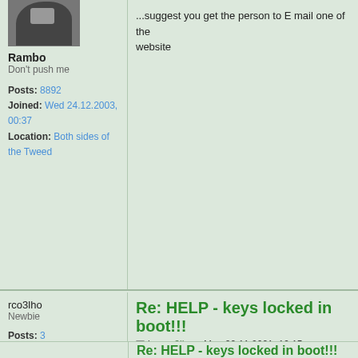...suggest you get the person to E mail one of the website
Rambo
Don't push me
Posts: 8892
Joined: Wed 24.12.2003, 00:37
Location: Both sides of the Tweed
Re: HELP - keys locked in boot!!!
by rco3lho » Mon 22.11.2021, 19:15
rco3lho
Newbie
Posts: 3
Joined: Tue 07.07.2009, 16:16
Rambo wrote:
Suggest you get the person to E mail one of the club website
I am the Manager of Club Lotus Portugal, this email of the members that offered help here be moderators here can help, we'll contact them. trying to solve this situation. You can email us a

Regards
Re: HELP - keys locked in boot!!!